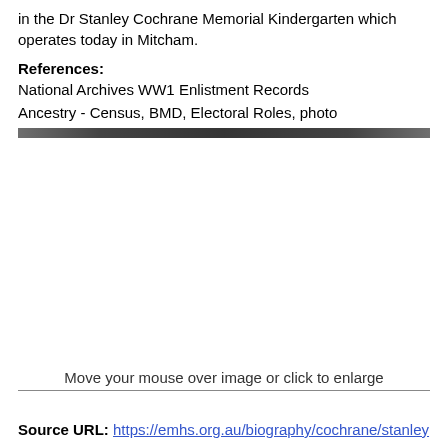in the Dr Stanley Cochrane Memorial Kindergarten which operates today in Mitcham.
References:
National Archives WW1 Enlistment Records
Ancestry - Census, BMD, Electoral Roles, photo
Move your mouse over image or click to enlarge
Source URL: https://emhs.org.au/biography/cochrane/stanley